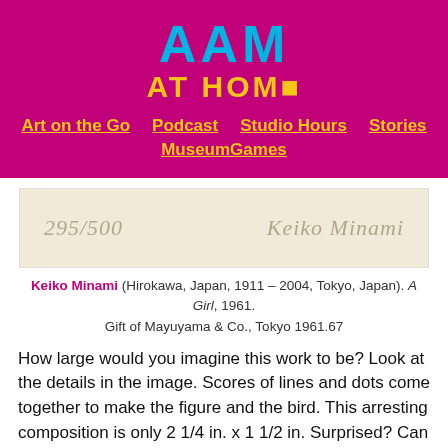[Figure (logo): AAM AT HOME logo in cyan and yellow on magenta background with navigation links]
[Figure (photo): Close-up of artwork label showing handwritten '295/500' and 'Keiko Minami' on cream-colored paper]
Keiko Minami (Hirokawa, Japan, 1911 – 2004, Tokyo, Japan). A Girl, 1961. Gift of Mayuyama & Co., Tokyo 1961.67
How large would you imagine this work to be? Look at the details in the image. Scores of lines and dots come together to make the figure and the bird. This arresting composition is only 2 1/4 in. x 1 1/2 in. Surprised? Can you make a stamp-sized work that feels monumental?